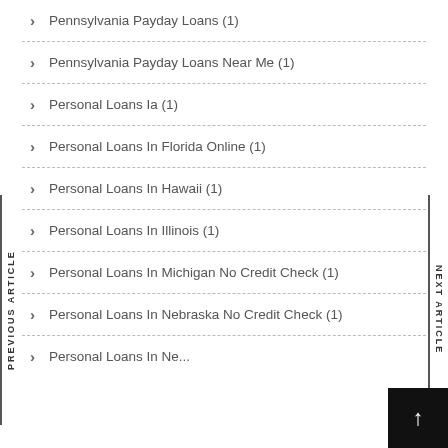Pennsylvania Payday Loans (1)
Pennsylvania Payday Loans Near Me (1)
Personal Loans Ia (1)
Personal Loans In Florida Online (1)
Personal Loans In Hawaii (1)
Personal Loans In Illinois (1)
Personal Loans In Michigan No Credit Check (1)
Personal Loans In Nebraska No Credit Check (1)
Personal Loans In New Jersey No Credit Check (1)